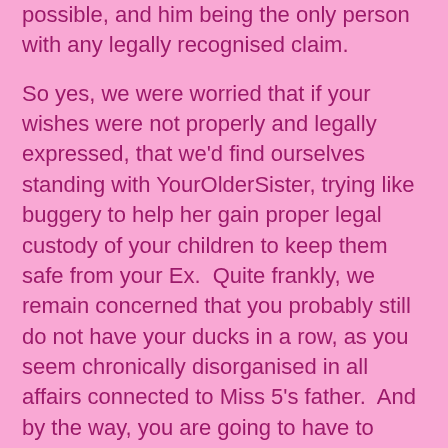possible, and him being the only person with any legally recognised claim.
So yes, we were worried that if your wishes were not properly and legally expressed, that we'd find ourselves standing with YourOlderSister, trying like buggery to help her gain proper legal custody of your children to keep them safe from your Ex.  Quite frankly, we remain concerned that you probably still do not have your ducks in a row, as you seem chronically disorganised in all affairs connected to Miss 5's father.  And by the way, you are going to have to explain to me, why it is such a bad thing that we would want to ensure that your affairs are in order, and that YourOlderSister had the legally documented support she needs to obtain guardianship of those children and keep them safe,